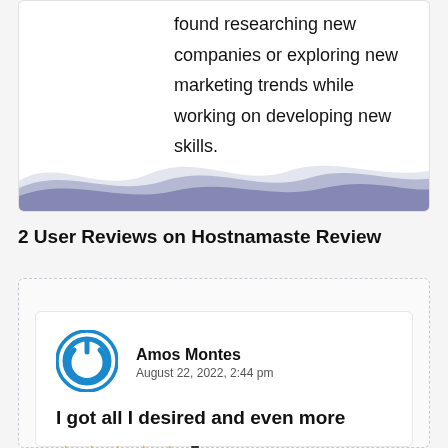found researching new companies or exploring new marketing trends while working on developing new skills.
[Figure (illustration): Decorative wave illustration in shades of lavender and grey at the bottom of a card]
2 User Reviews on Hostnamaste Review
[Figure (illustration): Power button icon in blue circle, avatar for reviewer Amos Montes]
Amos Montes
August 22, 2022, 2:44 pm
I got all I desired and even more
5